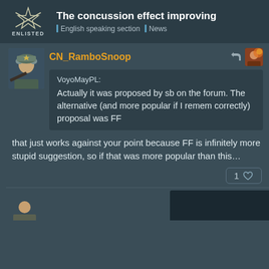The concussion effect improving | English speaking section | News
CN_RamboSnoop
VoyoMayPL:
Actually it was proposed by sb on the forum. The alternative (and more popular if I remem correctly) proposal was FF
that just works against your point because FF is infinitely more stupid suggestion, so if that was more popular than this...
1 ♡